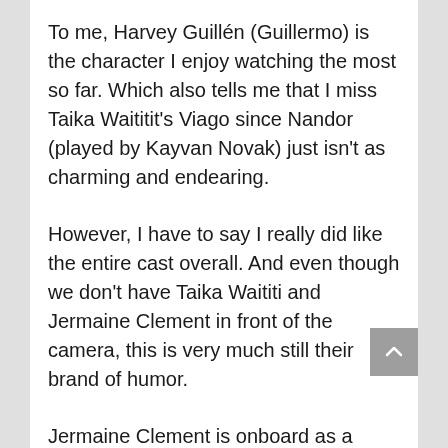To me, Harvey Guillén (Guillermo) is the character I enjoy watching the most so far. Which also tells me that I miss Taika Waititit's Viago since Nandor (played by Kayvan Novak) just isn't as charming and endearing.
However, I have to say I really did like the entire cast overall. And even though we don't have Taika Waititi and Jermaine Clement in front of the camera, this is very much still their brand of humor.
Jermaine Clement is onboard as a writer while Taika Waititi is directing. We're unsure of which episodes they've worked on since the screener we received didn't include credits.